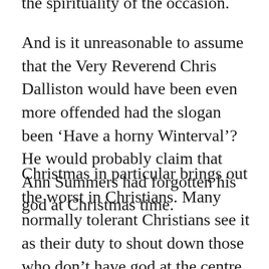the spirituality of the occasion.
And is it unreasonable to assume that the Very Reverend Chris Dalliston would have been even more offended had the slogan been ‘Have a horny Winterval’? He would probably claim that Ann Summers had forgotten his god at Christmas time.
Christmas in particular brings out the worst in Christians. Many normally tolerant Christians see it as their duty to shout down those who don’t have god at the centre of their seasonal celebration, regardless of whether those people actually believe. Its something that oddly doesn’t happen at Easter – nobody sees Christians lining up to protest about the sale of